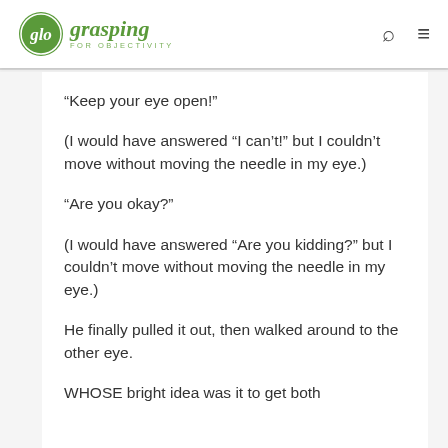glo grasping FOR OBJECTIVITY
“Keep your eye open!”
(I would have answered “I can’t!” but I couldn’t move without moving the needle in my eye.)
“Are you okay?”
(I would have answered “Are you kidding?” but I couldn’t move without moving the needle in my eye.)
He finally pulled it out, then walked around to the other eye.
WHOSE bright idea was it to get both